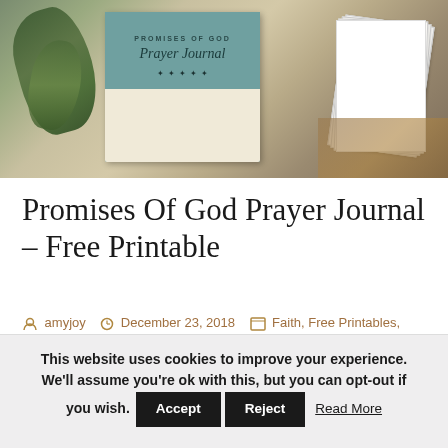[Figure (photo): Photo of a 'Promises of God Prayer Journal' book with teal cover featuring birds, surrounded by green leaves and stacked white pages on a wooden surface]
Promises Of God Prayer Journal – Free Printable
amyjoy  December 23, 2018  Faith, Free Printables, Inspiration, Spiritual Growth Resources  13 Comments
This website uses cookies to improve your experience. We'll assume you're ok with this, but you can opt-out if you wish.  Accept  Reject  Read More